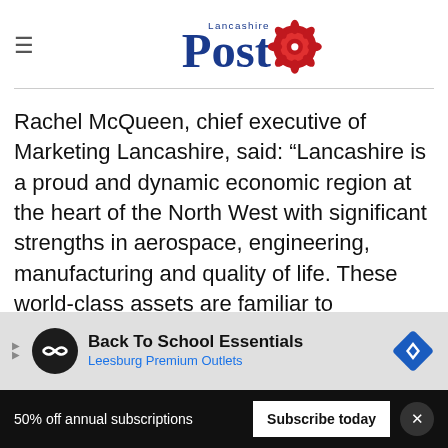Lancashire Post
Rachel McQueen, chief executive of Marketing Lancashire, said: “Lancashire is a proud and dynamic economic region at the heart of the North West with significant strengths in aerospace, engineering, manufacturing and quality of life. These world-class assets are familiar to Lancastrians but we still have some way to go in terms of national and international reco…
[Figure (other): Advertisement banner: Back To School Essentials, Leesburg Premium Outlets]
50% off annual subscriptions
Subscribe today